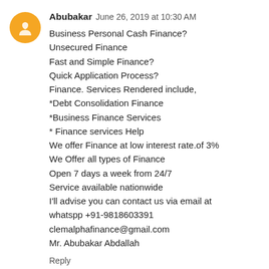Abubakar  June 26, 2019 at 10:30 AM
Business Personal Cash Finance?
Unsecured Finance
Fast and Simple Finance?
Quick Application Process?
Finance. Services Rendered include,
*Debt Consolidation Finance
*Business Finance Services
* Finance services Help
We offer Finance at low interest rate.of 3%
We Offer all types of Finance
Open 7 days a week from 24/7
Service available nationwide
I'll advise you can contact us via email at
whatspp +91-9818603391
clemalphafinance@gmail.com
Mr. Abubakar Abdallah
Reply
Puremelda  July 2, 2019 at 9:39 AM